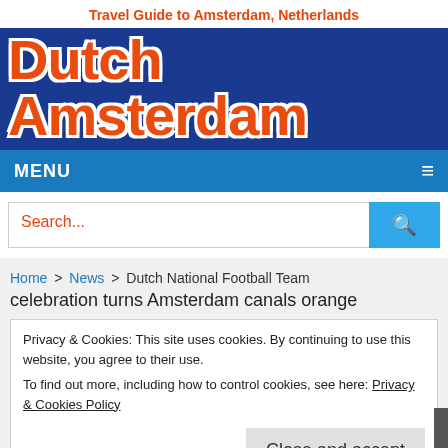Travel Guide to Amsterdam, Netherlands
Dutch Amsterdam
MENU
Search...
Home > News > Dutch National Football Team celebration turns Amsterdam canals orange
Privacy & Cookies: This site uses cookies. By continuing to use this website, you agree to their use.
To find out more, including how to control cookies, see here: Privacy & Cookies Policy
Close and accept